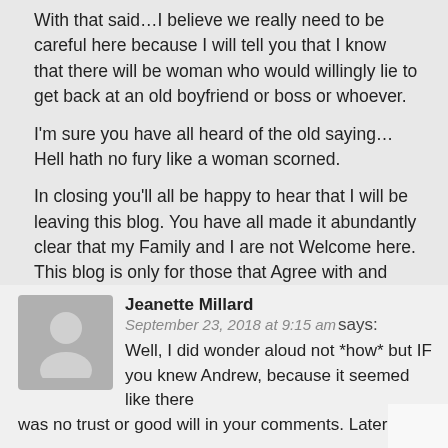With that said…I believe we really need to be careful here because I will tell you that I know that there will be woman who would willingly lie to get back at an old boyfriend or boss or whoever.
I'm sure you have all heard of the old saying…
Hell hath no fury like a woman scorned.
In closing you'll all be happy to hear that I will be leaving this blog. You have all made it abundantly clear that my Family and I are not Welcome here. This blog is only for those that Agree with and Praise the writer. So have at it !!!!
I will make a Prediction though….this woman will never testify….
Reply
Jeanette Millard says: September 23, 2018 at 9:15 am
Well, I did wonder aloud not *how* but IF you knew Andrew, because it seemed like there was no trust or good will in your comments. Later on I